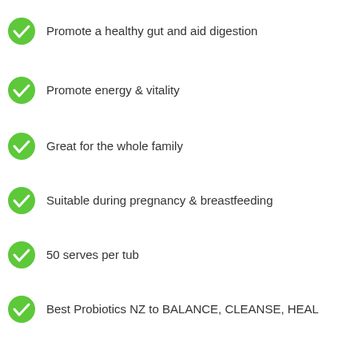Promote a healthy gut and aid digestion
Promote energy & vitality
Great for the whole family
Suitable during pregnancy & breastfeeding
50 serves per tub
Best Probiotics NZ to BALANCE, CLEANSE, HEAL